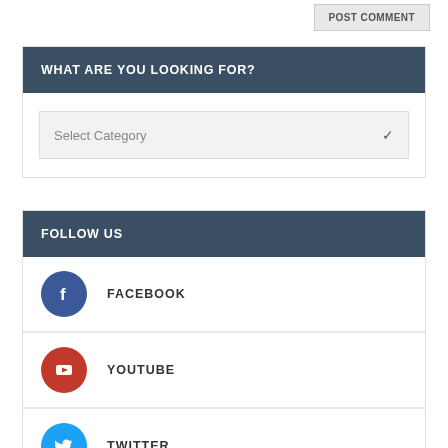POST COMMENT
WHAT ARE YOU LOOKING FOR?
Select Category
FOLLOW US
FACEBOOK
YOUTUBE
TWITTER